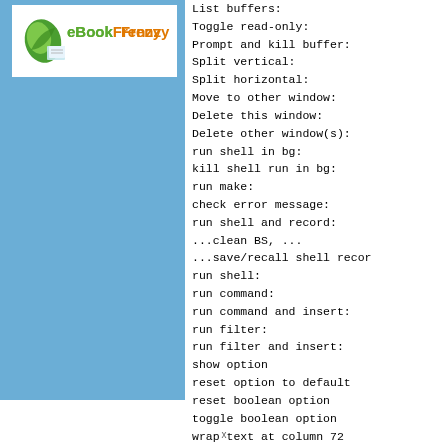[Figure (logo): eBookFrenzy logo with green leaf/book icon and colored text]
List buffers:
Toggle read-only:
Prompt and kill buffer:
Split vertical:
Split horizontal:
Move to other window:
Delete this window:
Delete other window(s):
run shell in bg:
kill shell run in bg:
run make:
check error message:
run shell and record:
...clean BS, ...
...save/recall shell recor
run shell:
run command:
run command and insert:
run filter:
run filter and insert:
show option
reset option to default
reset boolean option
toggle boolean option
wrap text at column 72
do not wrap
x